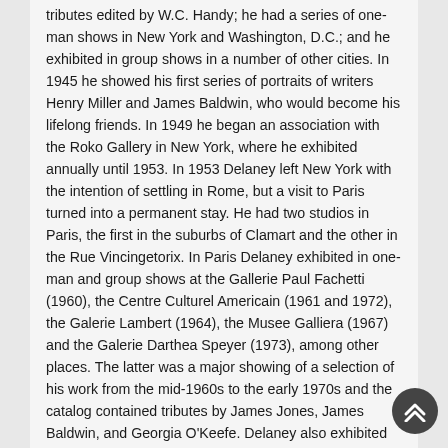tributes edited by W.C. Handy; he had a series of one-man shows in New York and Washington, D.C.; and he exhibited in group shows in a number of other cities. In 1945 he showed his first series of portraits of writers Henry Miller and James Baldwin, who would become his lifelong friends. In 1949 he began an association with the Roko Gallery in New York, where he exhibited annually until 1953. In 1953 Delaney left New York with the intention of settling in Rome, but a visit to Paris turned into a permanent stay. He had two studios in Paris, the first in the suburbs of Clamart and the other in the Rue Vincingetorix. In Paris Delaney exhibited in one-man and group shows at the Gallerie Paul Fachetti (1960), the Centre Culturel Americain (1961 and 1972), the Galerie Lambert (1964), the Musee Galliera (1967) and the Galerie Darthea Speyer (1973), among other places. The latter was a major showing of a selection of his work from the mid-1960s to the early 1970s and the catalog contained tributes by James Jones, James Baldwin, and Georgia O'Keefe. Delaney also exhibited in England, Germany, Italy, Spain, Switzerland and the United States. The Paris years saw the creation of several masterpieces including portraits of singer Marian Anderson and writer Jean Genet. During this period he also created a series of interiors and studies in watercolor. After suffering two nervous breakdowns, Delaney was institutionalized, and died on March 26, 1979 at St. Ann's Hospital in Paris. Delaney's last one-man show in the